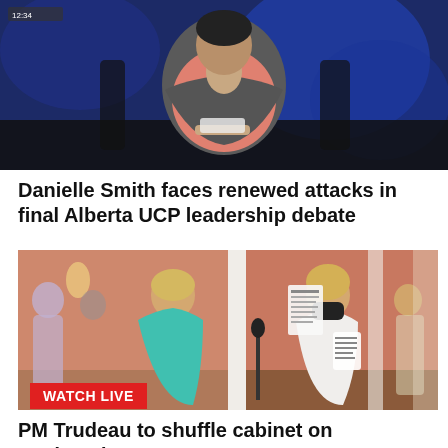[Figure (photo): TV anchor or moderator in a salmon/coral blazer seated at a desk in a dark studio with blue lighting background, holding papers]
Danielle Smith faces renewed attacks in final Alberta UCP leadership debate
[Figure (photo): Two women facing each other in an ornate hallway with salmon-colored walls; one in teal blazer, one in white blazer wearing black mask, holding notepad. Other people visible in background. WATCH LIVE badge overlaid.]
PM Trudeau to shuffle cabinet on Wednesday